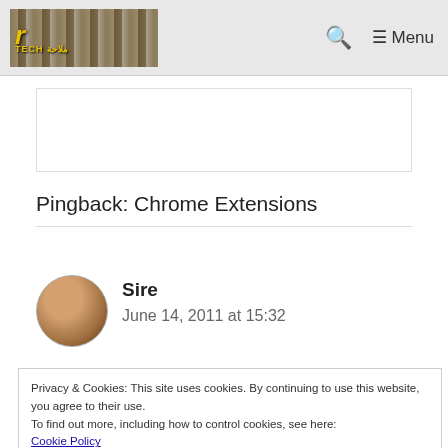Tech [logo] — Menu
[Figure (other): Advertisement banner placeholder box]
Pingback: Chrome Extensions
Sire
June 14, 2011 at 15:32
Privacy & Cookies: This site uses cookies. By continuing to use this website, you agree to their use.
To find out more, including how to control cookies, see here:
Cookie Policy
those days it didn't have many plugins, although I think that may be